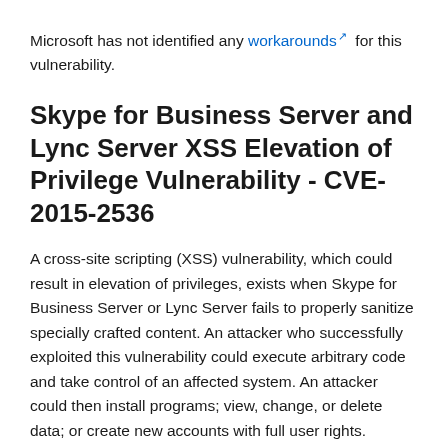Microsoft has not identified any workarounds for this vulnerability.
Skype for Business Server and Lync Server XSS Elevation of Privilege Vulnerability - CVE-2015-2536
A cross-site scripting (XSS) vulnerability, which could result in elevation of privileges, exists when Skype for Business Server or Lync Server fails to properly sanitize specially crafted content. An attacker who successfully exploited this vulnerability could execute arbitrary code and take control of an affected system. An attacker could then install programs; view, change, or delete data; or create new accounts with full user rights.
For this vulnerability to be exploited, a user must click a